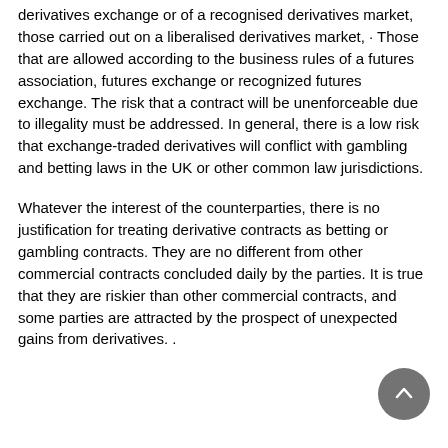derivatives exchange or of a recognised derivatives market, those carried out on a liberalised derivatives market, · Those that are allowed according to the business rules of a futures association, futures exchange or recognized futures exchange. The risk that a contract will be unenforceable due to illegality must be addressed. In general, there is a low risk that exchange-traded derivatives will conflict with gambling and betting laws in the UK or other common law jurisdictions.
Whatever the interest of the counterparties, there is no justification for treating derivative contracts as betting or gambling contracts. They are no different from other commercial contracts concluded daily by the parties. It is true that they are riskier than other commercial contracts, and some parties are attracted by the prospect of unexpected gains from derivatives. .